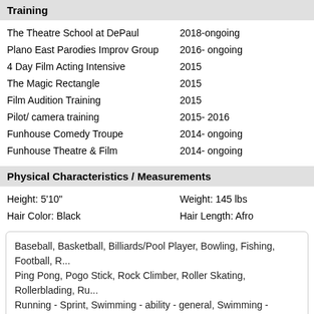Training
| Training | Year |
| --- | --- |
| The Theatre School at DePaul | 2018-ongoing |
| Plano East Parodies Improv Group | 2016- ongoing |
| 4 Day Film Acting Intensive | 2015 |
| The Magic Rectangle | 2015 |
| Film Audition Training | 2015 |
| Pilot/ camera training | 2015- 2016 |
| Funhouse Comedy Troupe | 2014- ongoing |
| Funhouse Theatre & Film | 2014- ongoing |
Physical Characteristics / Measurements
| Attribute | Value |
| --- | --- |
| Height: 5'10" | Weight: 145 lbs |
| Hair Color: Black | Hair Length: Afro |
Baseball, Basketball, Billiards/Pool Player, Bowling, Fishing, Football, R... Ping Pong, Pogo Stick, Rock Climber, Roller Skating, Rollerblading, Ru... Running - Sprint, Swimming - ability - general, Swimming - backstroke,... butterfly, Swimming - freestyle, Tennis, Track & Field, Trampoline, Volle... Comedian, Dance Cha Cha, Dance Salsa, Dancer, Improvisation, Licer...